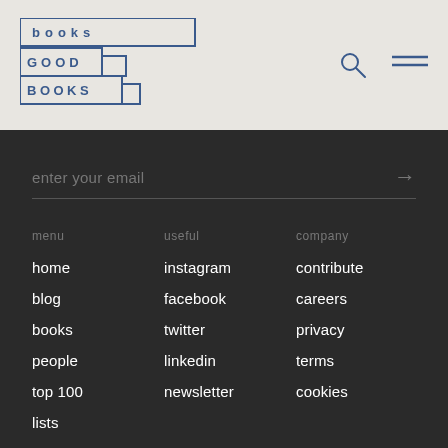[Figure (logo): Good Books logo - stacked book blocks with 'GOOD BOOKS' text in blue outline style]
enter your email
menu
useful
company
home
instagram
contribute
blog
facebook
careers
books
twitter
privacy
people
linkedin
terms
top 100
newsletter
cookies
lists